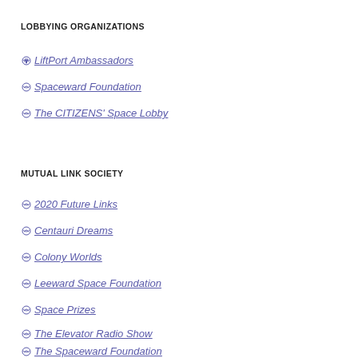LOBBYING ORGANIZATIONS
LiftPort Ambassadors
Spaceward Foundation
The CITIZENS' Space Lobby
MUTUAL LINK SOCIETY
2020 Future Links
Centauri Dreams
Colony Worlds
Leeward Space Foundation
Space Prizes
The Elevator Radio Show
The Spaceward Foundation